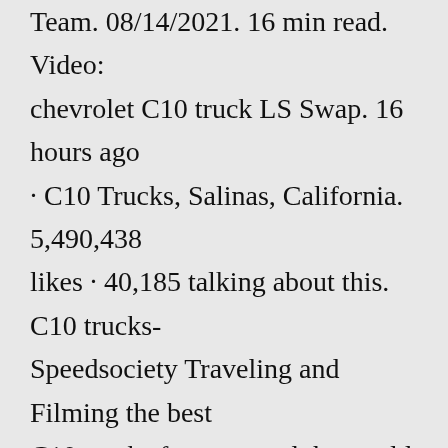Team. 08/14/2021. 16 min read. Video: chevrolet C10 truck LS Swap. 16 hours ago · C10 Trucks, Salinas, California. 5,490,438 likes · 40,185 talking about this. C10 trucks-Speedsociety Traveling and Filming the best C10 trucks from around the world WWW.CUSTOMC10.COM 16 hours ago · C10 Trucks, Salinas, California. 5,490,438 likes · 40,185 talking about this. C10 trucks-Speedsociety Traveling and Filming the best C10 trucks from around the world